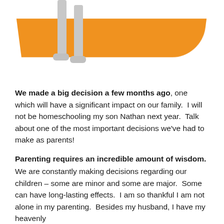[Figure (illustration): Stylized 3D figure (gray humanoid legs and feet) standing on an orange curved ramp or path, viewed from a low angle. The figure appears to be walking along the orange bar.]
We made a big decision a few months ago, one which will have a significant impact on our family. I will not be homeschooling my son Nathan next year. Talk about one of the most important decisions we've had to make as parents!
Parenting requires an incredible amount of wisdom. We are constantly making decisions regarding our children – some are minor and some are major. Some can have long-lasting effects. I am so thankful I am not alone in my parenting. Besides my husband, I have my heavenly